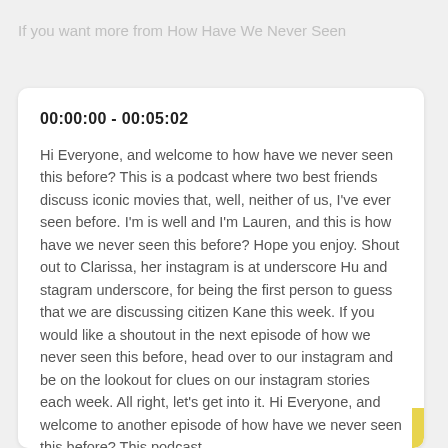If you want more from How Have We Never Seen
00:00:00 - 00:05:02
Hi Everyone, and welcome to how have we never seen this before? This is a podcast where two best friends discuss iconic movies that, well, neither of us, I've ever seen before. I'm is well and I'm Lauren, and this is how have we never seen this before? Hope you enjoy. Shout out to Clarissa, her instagram is at underscore Hu and stagram underscore, for being the first person to guess that we are discussing citizen Kane this week. If you would like a shoutout in the next episode of how we never seen this before, head over to our instagram and be on the lookout for clues on our instagram stories each week. All right, let's get into it. Hi Everyone, and welcome to another episode of how have we never seen this before? This podcast